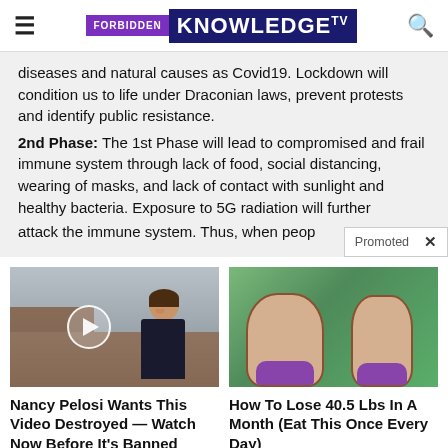FORBIDDEN KNOWLEDGE TV
diseases and natural causes as Covid19. Lockdown will condition us to life under Draconian laws, prevent protests and identify public resistance.
2nd Phase: The 1st Phase will lead to compromised and frail immune system through lack of food, social distancing, wearing of masks, and lack of contact with sunlight and healthy bacteria. Exposure to 5G radiation will further attack the immune system. Thus, when peop
Promoted ×
[Figure (photo): Photo of a woman in a dark jacket smiling outdoors near industrial buildings, with a video play button overlay]
[Figure (illustration): Cartoon illustration showing before/after weight loss comparison, two female torsos in purple bikini bottoms]
Nancy Pelosi Wants This Video Destroyed — Watch Now Before It's Banned
How To Lose 40.5 Lbs In A Month (Eat This Once Every Day)
Watch The Video
Find Out More